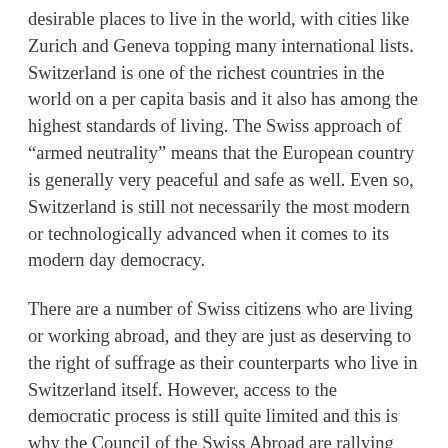desirable places to live in the world, with cities like Zurich and Geneva topping many international lists. Switzerland is one of the richest countries in the world on a per capita basis and it also has among the highest standards of living. The Swiss approach of “armed neutrality” means that the European country is generally very peaceful and safe as well. Even so, Switzerland is still not necessarily the most modern or technologically advanced when it comes to its modern day democracy.
There are a number of Swiss citizens who are living or working abroad, and they are just as deserving to the right of suffrage as their counterparts who live in Switzerland itself. However, access to the democratic process is still quite limited and this is why the Council of the Swiss Abroad are rallying behind the promotion of electronic voting for Swiss expatriates.
The expatriate community is represented by the Council of the Swiss Abroad and at the council's regular meeting in Bern in March, all of the over 120 representatives approved a new 8-point manifesto on the future of elections in